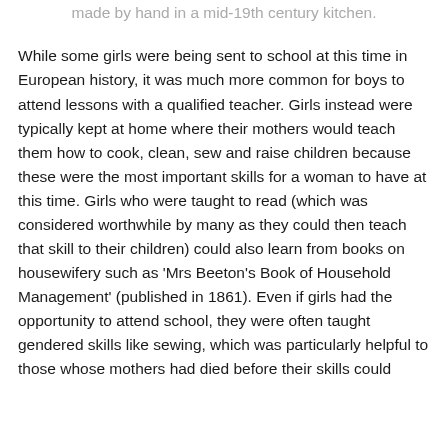made by hand in a mid-19th century kitchen.
While some girls were being sent to school at this time in European history, it was much more common for boys to attend lessons with a qualified teacher. Girls instead were typically kept at home where their mothers would teach them how to cook, clean, sew and raise children because these were the most important skills for a woman to have at this time. Girls who were taught to read (which was considered worthwhile by many as they could then teach that skill to their children) could also learn from books on housewifery such as 'Mrs Beeton's Book of Household Management' (published in 1861). Even if girls had the opportunity to attend school, they were often taught gendered skills like sewing, which was particularly helpful to those whose mothers had died before their skills could